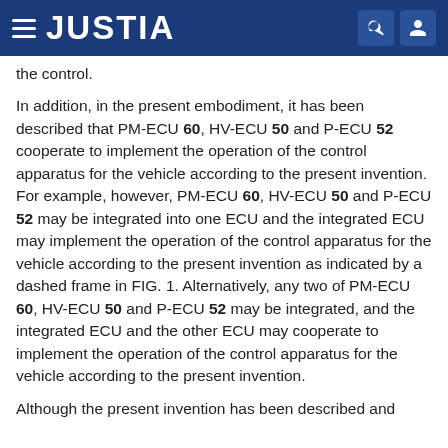JUSTIA
the control.
In addition, in the present embodiment, it has been described that PM-ECU 60, HV-ECU 50 and P-ECU 52 cooperate to implement the operation of the control apparatus for the vehicle according to the present invention. For example, however, PM-ECU 60, HV-ECU 50 and P-ECU 52 may be integrated into one ECU and the integrated ECU may implement the operation of the control apparatus for the vehicle according to the present invention as indicated by a dashed frame in FIG. 1. Alternatively, any two of PM-ECU 60, HV-ECU 50 and P-ECU 52 may be integrated, and the integrated ECU and the other ECU may cooperate to implement the operation of the control apparatus for the vehicle according to the present invention.
Although the present invention has been described and